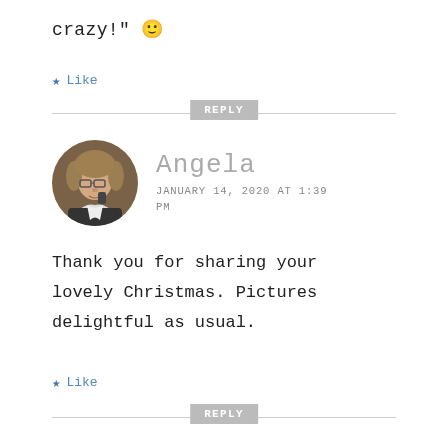crazy!" 🙂
★ Like
REPLY
[Figure (photo): Circular avatar photo of Angela, a woman with short brown hair and glasses, holding a phone]
Angela
JANUARY 14, 2020 AT 1:39 PM
Thank you for sharing your lovely Christmas. Pictures delightful as usual.
★ Like
REPLY